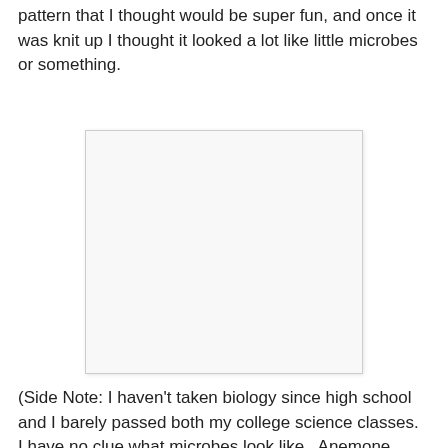pattern that I thought would be super fun, and once it was knit up I thought it looked a lot like little microbes or something.
[Figure (photo): A blank/white rectangular image placeholder with a light gray border and subtle shadow, centered on the page.]
(Side Note: I haven't taken biology since high school and I barely passed both my college science classes.  I have no clue what microbes look like.  Anemone does not think they look like microbes.  But if you squint the lace kind of looks like little bugs, and bugs carry diseases, right?)